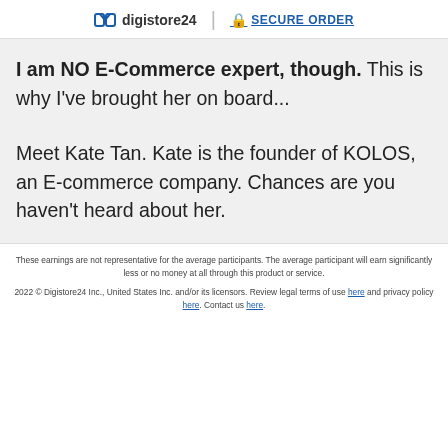digistore24 | SECURE ORDER
I am NO E-Commerce expert, though. This is why I've brought her on board...
Meet Kate Tan. Kate is the founder of KOLOS, an E-commerce company. Chances are you haven't heard about her.
These earnings are not representative for the average participants. The average participant will earn significantly less or no money at all through this product or service.
2022 © Digistore24 Inc., United States Inc. and/or its licensors. Review legal terms of use here and privacy policy here. Contact us here.